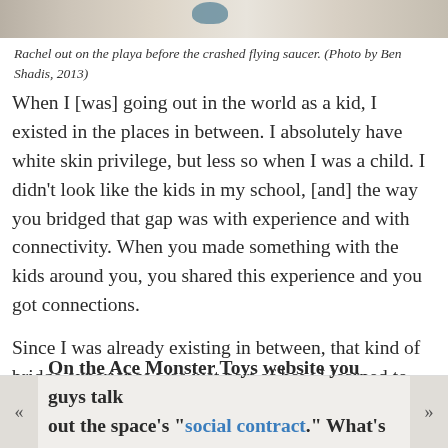[Figure (photo): Partial view of a photo showing a person on a playa near a crashed flying saucer, cropped at top of page]
Rachel out on the playa before the crashed flying saucer. (Photo by Ben Shadis, 2013)
When I [was] going out in the world as a kid, I existed in the places in between. I absolutely have white skin privilege, but less so when I was a child. I didn't look like the kids in my school, [and] the way you bridged that gap was with experience and with connectivity. When you made something with the kids around you, you shared this experience and you got connections.
Since I was already existing in between, that kind of bridge experience was just part of how I learned to make myself a place in the world when it wasn't defined very clearly for me.
On the Ace Monster Toys website you guys talk about the space's “social contract.” What’s that all